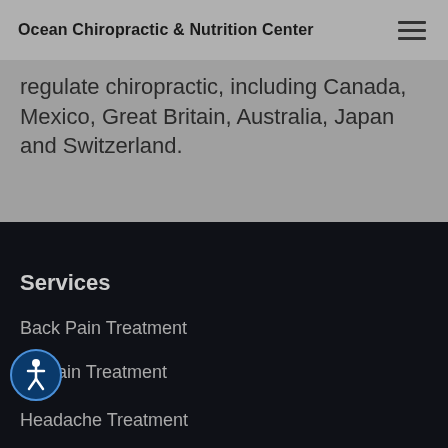Ocean Chiropractic & Nutrition Center
regulate chiropractic, including Canada, Mexico, Great Britain, Australia, Japan and Switzerland.
Services
Back Pain Treatment
Neck Pain Treatment
Headache Treatment